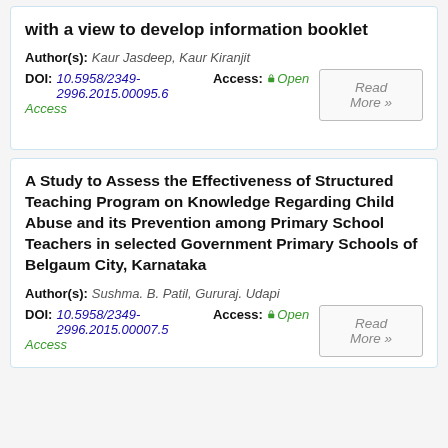with a view to develop information booklet
Author(s): Kaur Jasdeep, Kaur Kiranjit
DOI: 10.5958/2349-2996.2015.00095.6   Access: Open Access
Read More »
A Study to Assess the Effectiveness of Structured Teaching Program on Knowledge Regarding Child Abuse and its Prevention among Primary School Teachers in selected Government Primary Schools of Belgaum City, Karnataka
Author(s): Sushma. B. Patil, Gururaj. Udapi
DOI: 10.5958/2349-2996.2015.00007.5   Access: Open Access
Read More »